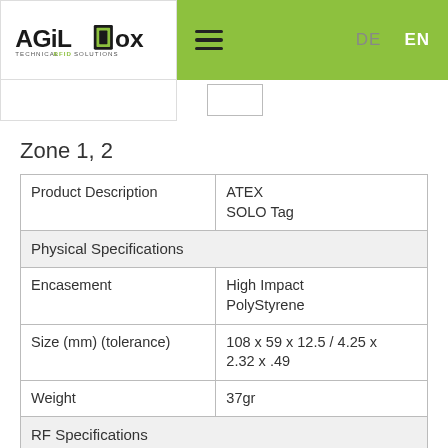AGiLLox Technical RFID Solutions — DE EN
Zone 1, 2
| Product Description | ATEX SOLO Tag |
| Physical Specifications |  |
| Encasement | High Impact PolyStyrene |
| Size (mm) (tolerance) | 108 x 59 x 12.5 / 4.25 x 2.32 x .49 |
| Weight | 37gr |
| RF Specifications |  |
| Protocol | EPC Class 1 Gen2 |